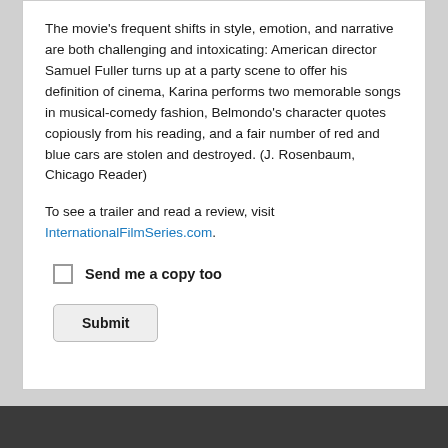The movie's frequent shifts in style, emotion, and narrative are both challenging and intoxicating: American director Samuel Fuller turns up at a party scene to offer his definition of cinema, Karina performs two memorable songs in musical-comedy fashion, Belmondo's character quotes copiously from his reading, and a fair number of red and blue cars are stolen and destroyed. (J. Rosenbaum, Chicago Reader)
To see a trailer and read a review, visit InternationalFilmSeries.com.
Send me a copy too
Submit